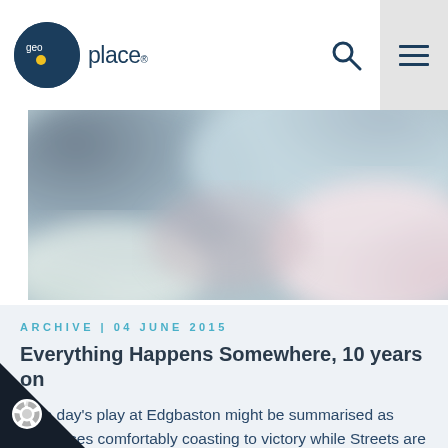GeoPlace logo header with search and menu icons
[Figure (photo): Blurred abstract hero image with dark grey, teal, pink and light green tones]
ARCHIVE | 04 JUNE 2015
Everything Happens Somewhere, 10 years on
"The day's play at Edgbaston might be summarised as Addresses comfortably coasting to victory while Streets are just beginning to get to grips with a sticky wic...